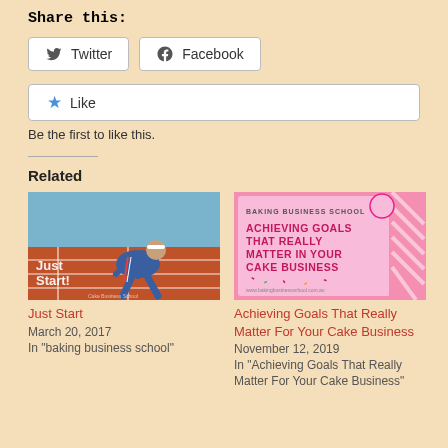Share this:
Twitter  Facebook
Like  Be the first to like this.
Related
[Figure (photo): Person in blue tracksuit on starting blocks on a red running track with text 'Just Start!']
Just Start
March 20, 2017
In "baking business school"
[Figure (illustration): Pink promotional graphic for Baking Business School with text 'ACHIEVING GOALS THAT REALLY MATTER IN YOUR CAKE BUSINESS']
Achieving Goals That Really Matter For Your Cake Business
November 12, 2019
In "Achieving Goals That Really Matter For Your Cake Business"